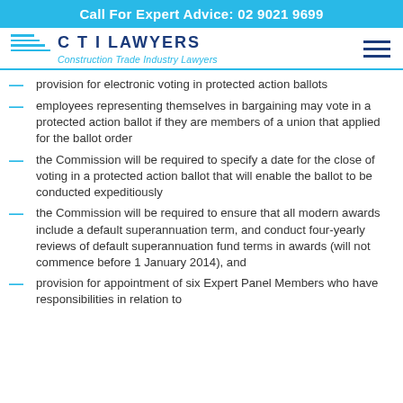Call For Expert Advice: 02 9021 9699
[Figure (logo): CTI Lawyers logo with blue lines and text 'C T I LAWYERS / Construction Trade Industry Lawyers']
provision for electronic voting in protected action ballots
employees representing themselves in bargaining may vote in a protected action ballot if they are members of a union that applied for the ballot order
the Commission will be required to specify a date for the close of voting in a protected action ballot that will enable the ballot to be conducted expeditiously
the Commission will be required to ensure that all modern awards include a default superannuation term, and conduct four-yearly reviews of default superannuation fund terms in awards (will not commence before 1 January 2014), and
provision for appointment of six Expert Panel Members who have responsibilities in relation to